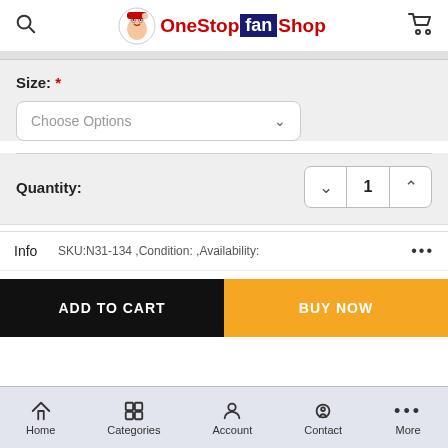OneStop fan Shop
Size: *
Choose Options
Quantity: 1
Info   SKU:N31-134 ,Condition: ,Availability:   ...
ADD TO CART
BUY NOW
Home   Categories   Account   Contact   More